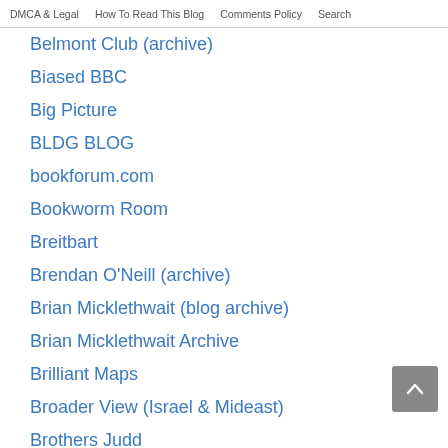DMCA & Legal | How To Read This Blog | Comments Policy | Search
Belmont Club (archive)
Biased BBC
Big Picture
BLDG BLOG
bookforum.com
Bookworm Room
Breitbart
Brendan O'Neill (archive)
Brian Micklethwait (blog archive)
Brian Micklethwait Archive
Brilliant Maps
Broader View (Israel & Mideast)
Brothers Judd